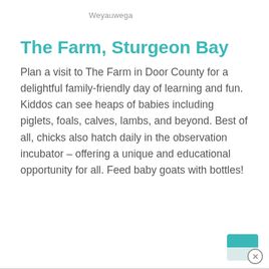Weyauwega
The Farm, Sturgeon Bay
Plan a visit to The Farm in Door County for a delightful family-friendly day of learning and fun. Kiddos can see heaps of babies including piglets, foals, calves, lambs, and beyond. Best of all, chicks also hatch daily in the observation incubator – offering a unique and educational opportunity for all. Feed baby goats with bottles!